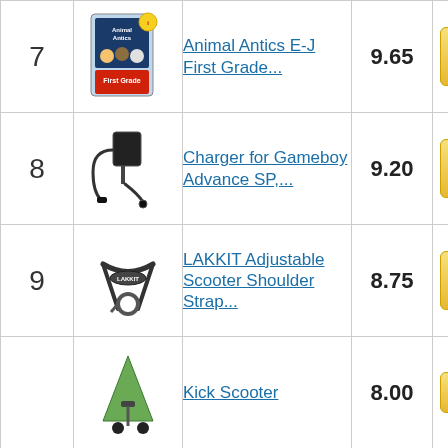| Rank | Image | Product | Score | Action |
| --- | --- | --- | --- | --- |
| 7 | [Animal Antics image] | Animal Antics E-J First Grade... | 9.65 | Buy on Amazon |
| 8 | [Charger image] | Charger for Gameboy Advance SP,... | 9.20 | Buy on Amazon |
| 9 | [Scooter strap image] | LAKKIT Adjustable Scooter Shoulder Strap... | 8.75 | Buy on Amazon |
| 10 | [Kick scooter image] | Kick Scooter | 8.00 | Buy on Amazon |